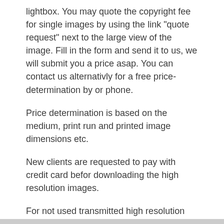lightbox. You may quote the copyright fee for single images by using the link "quote request" next to the large view of the image. Fill in the form and send it to us, we will submit you a price asap. You can contact us alternativly for a free price-determination by or phone.
Price determination is based on the medium, print run and printed image dimensions etc.
New clients are requested to pay with credit card befor downloading the high resolution images.
For not used transmitted high resolution images we charge 10 EUR per image
Foto: Horst Munzig